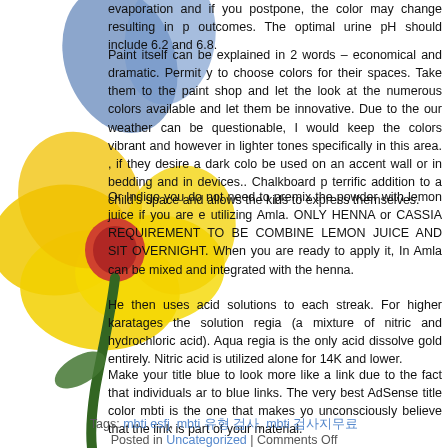[Figure (illustration): Watercolor painting of a flower with blue petals at top, yellow large petals in middle, red center, and green stem, overlapping the left side of the page.]
evaporation and if you postpone, the color may change resulting in p outcomes. The optimal urine pH should include 6.2 and 6.8.
Paint itself can be explained in 2 words – economical and dramatic. Permit y to choose colors for their spaces. Take them to the paint shop and let the look at the numerous colors available and let them be innovative. Due to the our weather can be questionable, I would keep the colors vibrant and however in lighter tones specifically in this area. , if they desire a dark colo be used on an accent wall or in bedding and in devices.. Chalkboard p terrific addition to a child's space and allows the kids to express themselves.
Or Indigo you do not need to premix the powder with lemon juice if you are utilizing Amla. ONLY HENNA or CASSIA REQUIREMENT TO BE COMBINE LEMON JUICE AND SIT OVERNIGHT. When you are ready to apply it, In Amla can be mixed and integrated with the henna.
He then uses acid solutions to each streak. For higher karatages the solution regia (a mixture of nitric and hydrochloric acid). Aqua regia is the only acid dissolve gold entirely. Nitric acid is utilized alone for 14K and lower.
Make your title blue to look more like a link due to the fact that individuals ar to blue links. The very best AdSense title color mbti is the one that makes yo unconsciously believe that the link is part of your material.
Tags: mbti esfj, mbti 유형 검사, mbti 검사지무료
Posted in Uncategorized | Comments Off